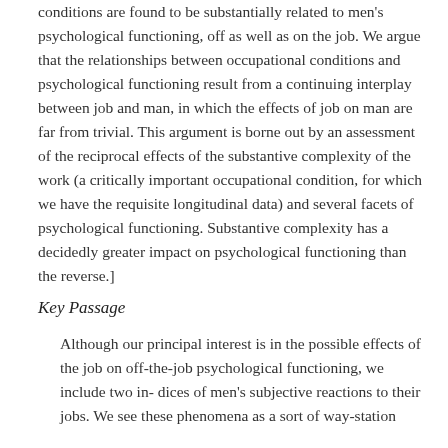conditions are found to be substantially related to men's psychological functioning, off as well as on the job. We argue that the relationships between occupational conditions and psychological functioning result from a continuing interplay between job and man, in which the effects of job on man are far from trivial. This argument is borne out by an assessment of the reciprocal effects of the substantive complexity of the work (a critically important occupational condition, for which we have the requisite longitudinal data) and several facets of psychological functioning. Substantive complexity has a decidedly greater impact on psychological functioning than the reverse.]
Key Passage
Although our principal interest is in the possible effects of the job on off-the-job psychological functioning, we include two in- dices of men's subjective reactions to their jobs. We see these phenomena as a sort of way-station